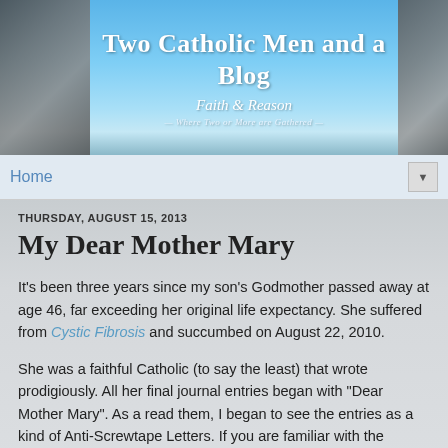Two Catholic Men and a Blog | Faith & Reason — Where Two or More are Gathered —
Home
THURSDAY, AUGUST 15, 2013
My Dear Mother Mary
It's been three years since my son's Godmother passed away at age 46, far exceeding her original life expectancy. She suffered from Cystic Fibrosis and succumbed on August 22, 2010.
She was a faithful Catholic (to say the least) that wrote prodigiously. All her final journal entries began with "Dear Mother Mary". As a read them, I began to see the entries as a kind of Anti-Screwtape Letters. If you are familiar with the Screwtape Letters by C.S. Lewis, you will recall that each